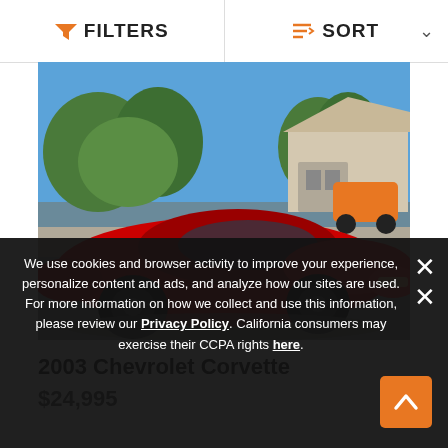FILTERS   SORT
[Figure (photo): Red 2003 Chevrolet Corvette sports car with black wheels, parked in a suburban driveway with green trees and a house in the background, on a sunny day. An orange car is visible in the background.]
2003 Chevrolet Corvette
$24,995
We use cookies and browser activity to improve your experience, personalize content and ads, and analyze how our sites are used. For more information on how we collect and use this information, please review our Privacy Policy. California consumers may exercise their CCPA rights here.